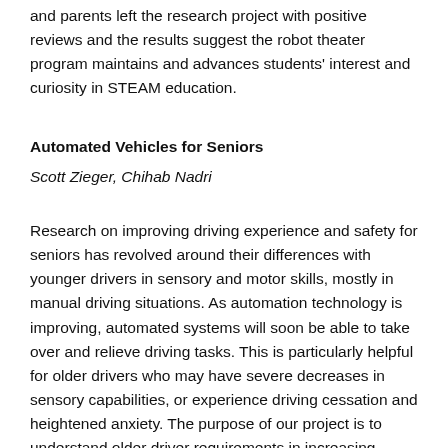and parents left the research project with positive reviews and the results suggest the robot theater program maintains and advances students' interest and curiosity in STEAM education.
Automated Vehicles for Seniors
Scott Zieger, Chihab Nadri
Research on improving driving experience and safety for seniors has revolved around their differences with younger drivers in sensory and motor skills, mostly in manual driving situations. As automation technology is improving, automated systems will soon be able to take over and relieve driving tasks. This is particularly helpful for older drivers who may have severe decreases in sensory capabilities, or experience driving cessation and heightened anxiety. The purpose of our project is to understand older driver requirements in increasing levels of automation and subsequently design automotive